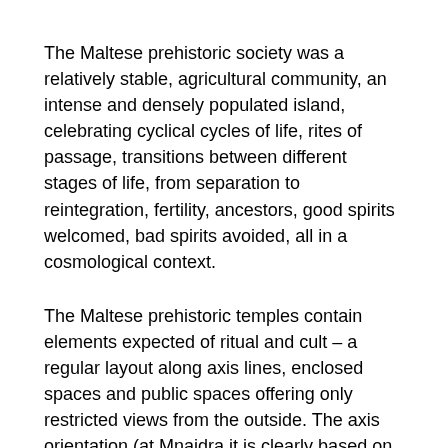The Maltese prehistoric society was a relatively stable, agricultural community, an intense and densely populated island, celebrating cyclical cycles of life, rites of passage, transitions between different stages of life, from separation to reintegration, fertility, ancestors, good spirits welcomed, bad spirits avoided, all in a cosmological context.
The Maltese prehistoric temples contain elements expected of ritual and cult – a regular layout along axis lines, enclosed spaces and public spaces offering only restricted views from the outside. The axis orientation (at Mnajdra it is clearly based on the solstice) is linked to a cosmology in an awe-inspiring location. Hagar Qim is surrounded by performance areas to which everybody had access. There are also oracle holes and even shrines in the outside wall focused on fertility and gender. But there are also barriers and thresholds controlling access to the interior. This is evident from the doorjambs and the holes for barriers. There are also thresholds, steps, in a word, exclusion.
It is also very significant to study the location of various objects. Libation holes, for instance, are always to be found on the left or in the middle, never on the right. The oracle holes in the restricted areas are